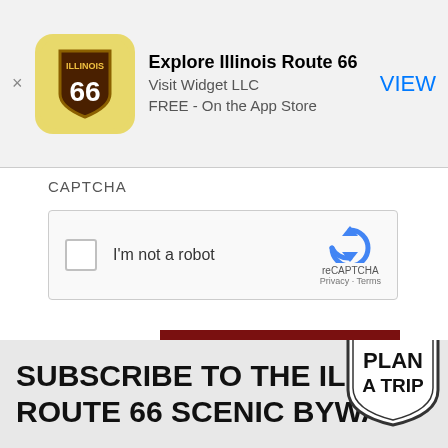[Figure (screenshot): App Store banner showing 'Explore Illinois Route 66' app by Visit Widget LLC, FREE on the App Store, with a VIEW button and Route 66 shield icon.]
CAPTCHA
[Figure (screenshot): reCAPTCHA widget with checkbox labeled 'I'm not a robot' and reCAPTCHA logo with Privacy and Terms links.]
SUBMIT
SUBSCRIBE TO THE ILLIN... ROUTE 66 SCENIC BYWAY ...